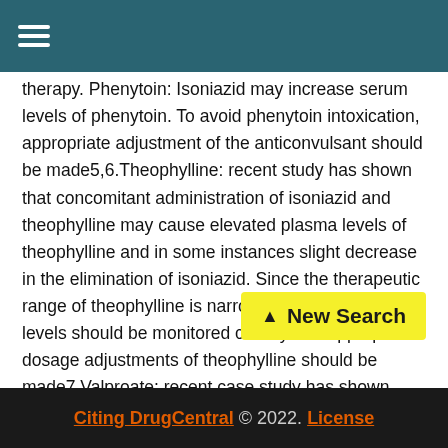☰ (hamburger menu)
therapy. Phenytoin: Isoniazid may increase serum levels of phenytoin. To avoid phenytoin intoxication, appropriate adjustment of the anticonvulsant should be made5,6.Theophylline: recent study has shown that concomitant administration of isoniazid and theophylline may cause elevated plasma levels of theophylline and in some instances slight decrease in the elimination of isoniazid. Since the therapeutic range of theophylline is narrow, theophylline serum levels should be monitored closely and appropriate dosage adjustments of theophylline should be made7.Valproate: recent case study has shown possible increase in the p valproate when co-administered with isoniazid. Plasma
[Figure (other): Yellow 'New Search' button with upward arrow]
Citing DrugCentral © 2022. License